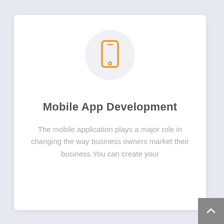[Figure (illustration): A circular light gray icon badge containing an orange/yellow smartphone/mobile phone icon]
Mobile App Development
The mobile application plays a major role in changing the way business owners market their business.You can create your